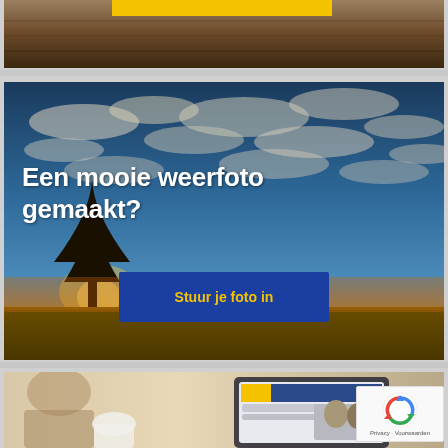[Figure (photo): Top partial image strip showing a dark warm-toned background with a golden/yellow banner bar across the top portion]
[Figure (photo): Weather photo advertisement banner with a dramatic sunset sky with scattered clouds, a silhouetted tree, and green fields. White bold text reads 'Een mooie weerfoto gemaakt?' with a blue button saying 'Stuur je foto in' in yellow text]
[Figure (photo): Bottom partial image strip showing a person using a tablet device, partially cropped]
[Figure (other): reCAPTCHA widget badge with the reCAPTCHA logo (arrows forming a refresh/recycle icon) and text 'Privacy · Voorwaarden']